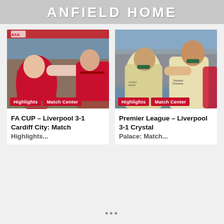ANFIELD HOME
[Figure (photo): Liverpool players in red kit celebrating or challenging, FA Cup match action shot with Highlights and Match Center badges]
[Figure (photo): Liverpool players in white/cream away kit celebrating, Premier League match against Crystal Palace with Highlights and Match Center badges]
FA CUP – Liverpool 3-1 Cardiff City: Match Highlights
Premier League – Liverpool 3-1 Crystal Palace: Match